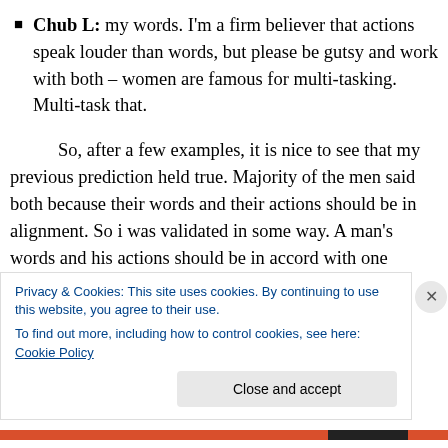Chub L: my words. I'm a firm believer that actions speak louder than words, but please be gutsy and work with both – women are famous for multi-tasking. Multi-task that.
So, after a few examples, it is nice to see that my previous prediction held true. Majority of the men said both because their words and their actions should be in alignment. So i was validated in some way. A man's words and his actions should be in accord with one another
Privacy & Cookies: This site uses cookies. By continuing to use this website, you agree to their use. To find out more, including how to control cookies, see here: Cookie Policy